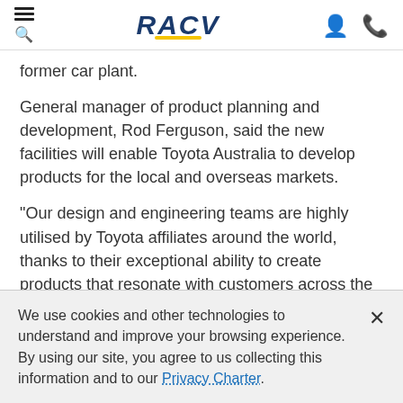RACV
former car plant.
General manager of product planning and development, Rod Ferguson, said the new facilities will enable Toyota Australia to develop products for the local and overseas markets.
“Our design and engineering teams are highly utilised by Toyota affiliates around the world, thanks to their exceptional ability to create products that resonate with customers across the globe,” Mr Ferguson said.
We use cookies and other technologies to understand and improve your browsing experience. By using our site, you agree to us collecting this information and to our Privacy Charter.